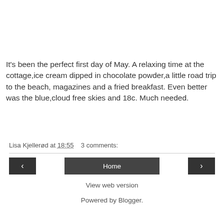It's been the perfect first day of May. A relaxing time at the cottage,ice cream dipped in chocolate powder,a little road trip to the beach, magazines and a fried breakfast. Even better was the blue,cloud free skies and 18c. Much needed.
Lisa Kjellerød at 18:55   3 comments:
Home
View web version
Powered by Blogger.